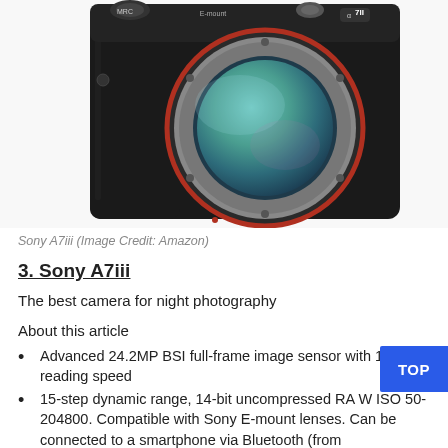[Figure (photo): Front view of Sony A7III mirrorless camera body (black) with exposed sensor and red-accented E-mount ring, showing 'alpha' logo and '7II' label on top right.]
Sony A7iii (Image Credit: Amazon)
3. Sony A7iii
The best camera for night photography
About this article
Advanced 24.2MP BSI full-frame image sensor with 1.8x reading speed
15-step dynamic range, 14-bit uncompressed RAW ISO 50-204800. Compatible with Sony E-mount lenses. Can be connected to a smartphone via Bluetooth (from